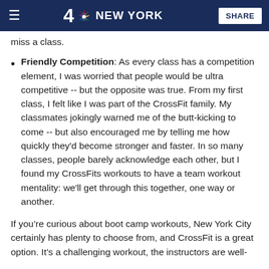4 NBC NEW YORK  SHARE
miss a class.
Friendly Competition: As every class has a competition element, I was worried that people would be ultra competitive -- but the opposite was true. From my first class, I felt like I was part of the CrossFit family. My classmates jokingly warned me of the butt-kicking to come -- but also encouraged me by telling me how quickly they'd become stronger and faster. In so many classes, people barely acknowledge each other, but I found my CrossFits workouts to have a team workout mentality: we'll get through this together, one way or another.
If you’re curious about boot camp workouts, New York City certainly has plenty to choose from, and CrossFit is a great option. It’s a challenging workout, the instructors are well-